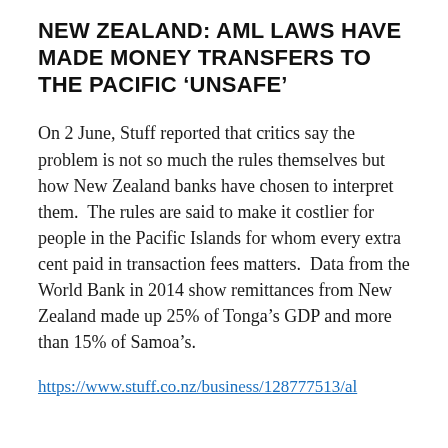NEW ZEALAND: AML LAWS HAVE MADE MONEY TRANSFERS TO THE PACIFIC 'UNSAFE'
On 2 June, Stuff reported that critics say the problem is not so much the rules themselves but how New Zealand banks have chosen to interpret them.  The rules are said to make it costlier for people in the Pacific Islands for whom every extra cent paid in transaction fees matters.  Data from the World Bank in 2014 show remittances from New Zealand made up 25% of Tonga’s GDP and more than 15% of Samoa’s.
https://www.stuff.co.nz/business/128777513/al